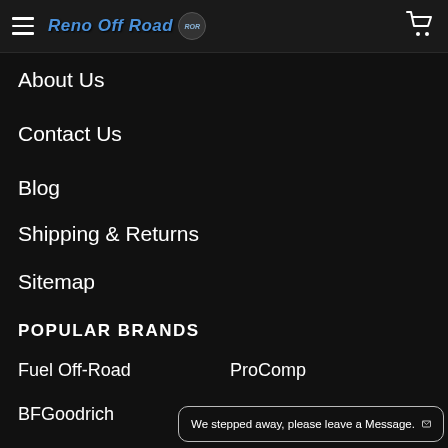Reno Off Road
About Us
Contact Us
Blog
Shipping & Returns
Sitemap
POPULAR BRANDS
Fuel Off-Road
ProComp
BFGoodrich
We stepped away, please leave a Message.